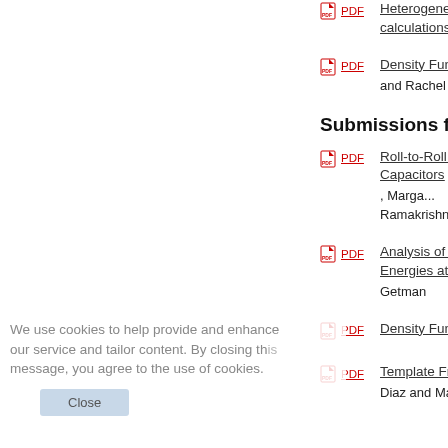PDF Heterogeneous C... calculations and m...
PDF Density Function... and Rachel B. Get...
Submissions from 2014
PDF Roll-to-Roll Synth... Capacitors, Marga... Ramakrishna Pod...
PDF Analysis of Solvat... Energies at the An... Getman
PDF Density Function...
PDF Template Free-Sy... Diaz and Mark E. R...
We use cookies to help provide and enhanc... our service and tailor content. By closing th... message, you agree to the use of cookies.